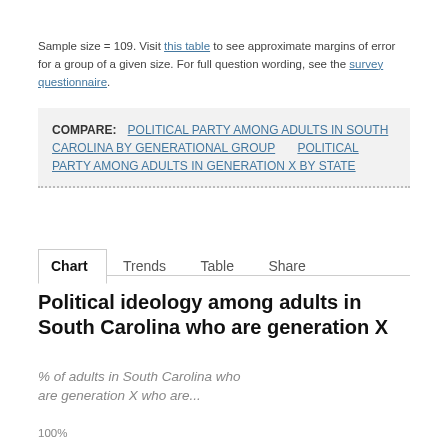Sample size = 109. Visit this table to see approximate margins of error for a group of a given size. For full question wording, see the survey questionnaire.
COMPARE: POLITICAL PARTY AMONG ADULTS IN SOUTH CAROLINA BY GENERATIONAL GROUP  POLITICAL PARTY AMONG ADULTS IN GENERATION X BY STATE
Chart  Trends  Table  Share
Political ideology among adults in South Carolina who are generation X
% of adults in South Carolina who are generation X who are...
100%